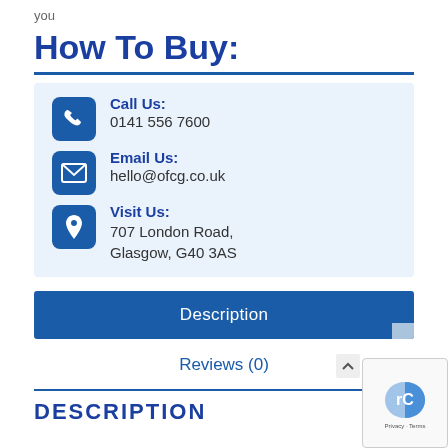you
How To Buy:
Call Us:
0141 556 7600
Email Us:
hello@ofcg.co.uk
Visit Us:
707 London Road,
Glasgow, G40 3AS
Description
Reviews (0)
DESCRIPTION